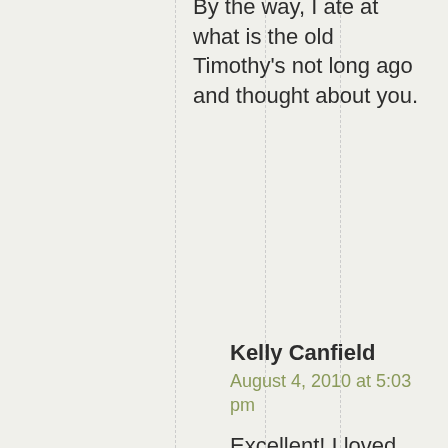By the way, I ate at what is the old Timothy's not long ago and thought about you.
Kelly Canfield
August 4, 2010 at 5:03 pm

Excellent! I loved that place. Spent WAY too much time there listening to Alice Tatum and crew.

Here's a chunk of